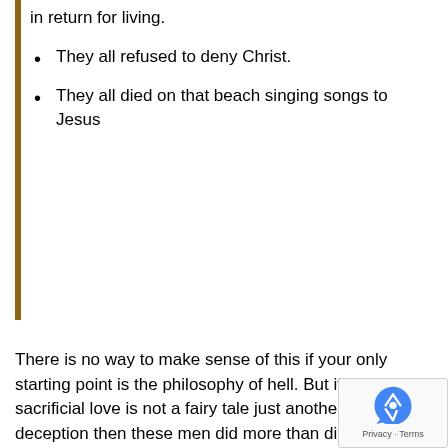in return for living.
They all refused to deny Christ.
They all died on that beach singing songs to Jesus
There is no way to make sense of this if your only starting point is the philosophy of hell. But if true sacrificial love is not a fairy tale just another deception then these men did more than die on that beach. Their lives were more than hunt or be hunted. We have faith that God is just but we also know that Frank Underwood was wrong. The Old Testament God wasn’t just wrath and power, from the beginning he made a covenant to love the whole world, first through Israel and then through the Messiah, Jesus. This is the Philosophy of Heaven.